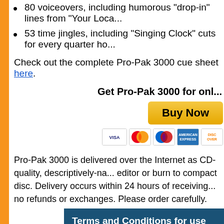80 voiceovers, including humorous "drop-in" lines from "Your Loca...
53 time jingles, including "Singing Clock" cuts for every quarter ho...
Check out the complete Pro-Pak 3000 cue sheet here.
Get Pro-Pak 3000 for onl...
[Figure (other): PayPal Buy Now button with credit card icons (Visa, Mastercard, Maestro, Amex, Discover)]
Pro-Pak 3000 is delivered over the Internet as CD-quality, descriptively-na... editor or burn to compact disc. Delivery occurs within 24 hours of receiving... no refunds or exchanges. Please order carefully.
Terms and Conditions for use of Pro-Pak 3000
Pro-Pak 3000 is sold on a non-exclusive basis, which means you a... do!
When you purchase this fabulous package it means you agree to t...
You may not duplicate, sell or give away any portion of Pro-Pak 3... means that if you sell produced spots (your voice over one of our ... anyone else any portion of your Pro-Pak 3000 elements "in the cl...
That's it!